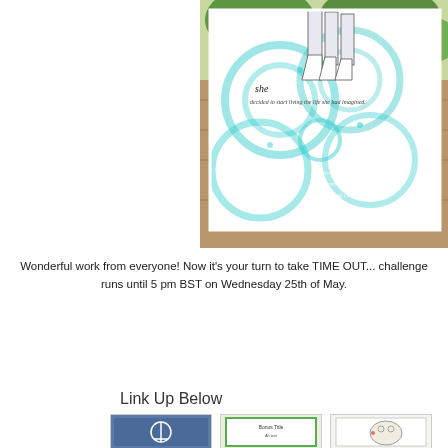[Figure (photo): A handmade card with aqua/teal circular stencil pattern background and a stamped figure of a woman in a dress. Cursive script reads 'she decided to start living the life she had imagined.' Bottom right watermark reads 'Gerrina's Creatievewereld.blogspot.com'. Card is displayed on a wooden surface with green foliage in background.]
Wonderful work from everyone! Now it's your turn to take TIME OUT... challenge runs until 5 pm BST on Wednesday 25th of May.
Link Up Below
[Figure (photo): Three small thumbnail images of handmade cards shown at the bottom of the page.]